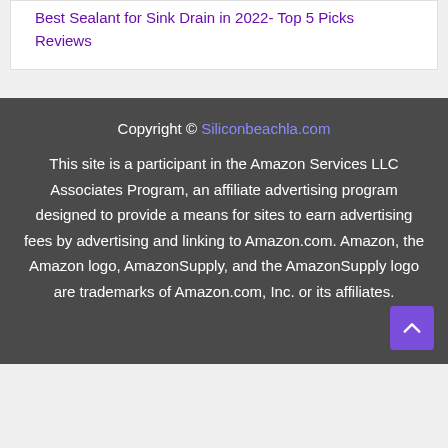Best Sealant for Sink Drain in 2022- Top 5 Picks Reviews
Copyright © Siliconbeachla.com
This site is a participant in the Amazon Services LLC Associates Program, an affiliate advertising program designed to provide a means for sites to earn advertising fees by advertising and linking to Amazon.com. Amazon, the Amazon logo, AmazonSupply, and the AmazonSupply logo are trademarks of Amazon.com, Inc. or its affiliates.